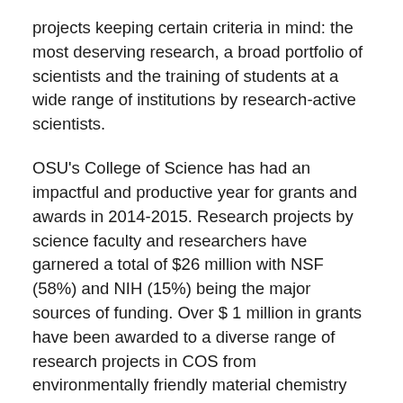projects keeping certain criteria in mind: the most deserving research, a broad portfolio of scientists and the training of students at a wide range of institutions by research-active scientists.
OSU's College of Science has had an impactful and productive year for grants and awards in 2014-2015. Research projects by science faculty and researchers have garnered a total of $26 million with NSF (58%) and NIH (15%) being the major sources of funding. Over $ 1 million in grants have been awarded to a diverse range of research projects in COS from environmentally friendly material chemistry research to coral disease studies and the OSU STEM Leaders Program, which fosters undergraduate research through peer and faculty mentoring.